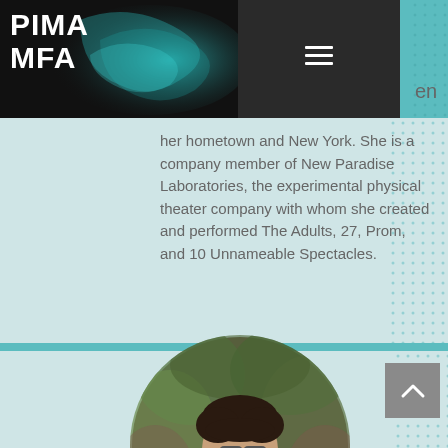PIMA MFA
her hometown and New York. She is a company member of New Paradise Laboratories, the experimental physical theater company with whom she created and performed The Adults, 27, Prom, and 10 Unnameable Spectacles.
[Figure (photo): Circular profile photo of a young man with dark hair and glasses wearing a colorful floral shirt, holding a white bird (heron or egret), with foliage in the background.]